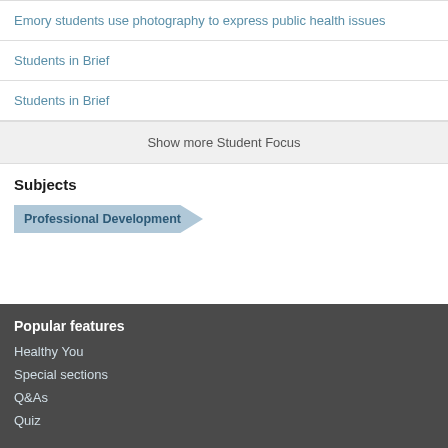Emory students use photography to express public health issues
Students in Brief
Students in Brief
Show more Student Focus
Subjects
Professional Development
Popular features
Healthy You
Special sections
Q&As
Quiz